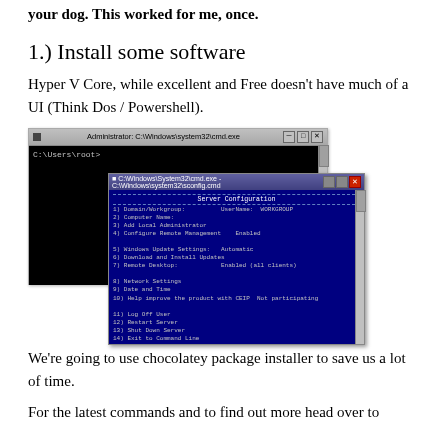your dog. This worked for me, once.
1.) Install some software
Hyper V Core, while excellent and Free doesn't have much of a UI (Think Dos / Powershell).
[Figure (screenshot): Two overlapping Windows command prompt windows. The back window shows a black cmd.exe console with 'C:\Users\root>' prompt. The front window shows a blue Server Configuration menu (sconfig.cmd) with numbered options including Domain/Workgroup, Computer Name, Remote Management, Windows Update, Remote Desktop, Network Settings, Date and Time, Help improve settings, Log Off User, Restart Server, Shut Down Server, Exit to Command Line.]
We're going to use chocolatey package installer to save us a lot of time.
For the latest commands and to find out  more head over to